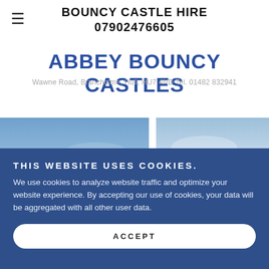BOUNCY CASTLE HIRE
07902476605
ABBEY BOUNCY CASTLES
Wawne Road, Brancholme, Hull, HU7 4ND Tel. 01482 832941
[Figure (photo): Blue sky background photo strip]
THIS WEBSITE USES COOKIES.
We use cookies to analyze website traffic and optimize your website experience. By accepting our use of cookies, your data will be aggregated with all other user data.
ACCEPT